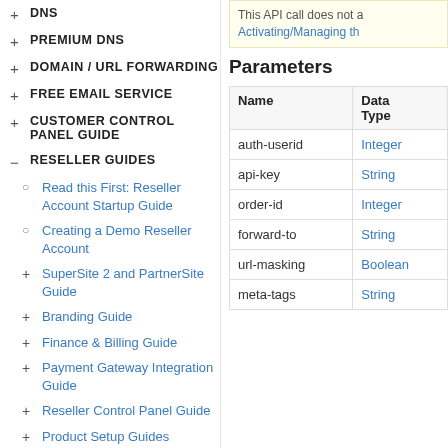+ DNS
+ PREMIUM DNS
+ DOMAIN / URL FORWARDING
+ FREE EMAIL SERVICE
+ CUSTOMER CONTROL PANEL GUIDE
− RESELLER GUIDES
○ Read this First: Reseller Account Startup Guide
○ Creating a Demo Reseller Account
+ SuperSite 2 and PartnerSite Guide
+ Branding Guide
+ Finance & Billing Guide
+ Payment Gateway Integration Guide
+ Reseller Control Panel Guide
+ Product Setup Guides
This API call does not... Activating/Managing th...
Parameters
| Name | Data Type |
| --- | --- |
| auth-userid | Integer |
| api-key | String |
| order-id | Integer |
| forward-to | String |
| url-masking | Boolean |
| meta-tags | String |